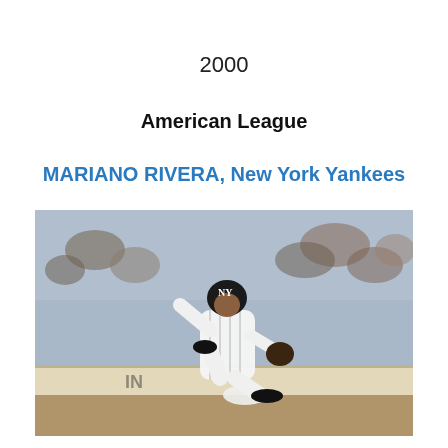2000
American League
MARIANO RIVERA, New York Yankees
[Figure (photo): Mariano Rivera, pitcher for the New York Yankees, in his pitching stance wearing the Yankees pinstripe uniform, in a game setting with a crowd in the background.]